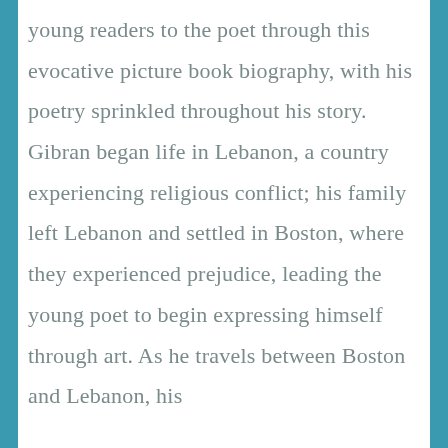young readers to the poet through this evocative picture book biography, with his poetry sprinkled throughout his story. Gibran began life in Lebanon, a country experiencing religious conflict; his family left Lebanon and settled in Boston, where they experienced prejudice, leading the young poet to begin expressing himself through art. As he travels between Boston and Lebanon, his